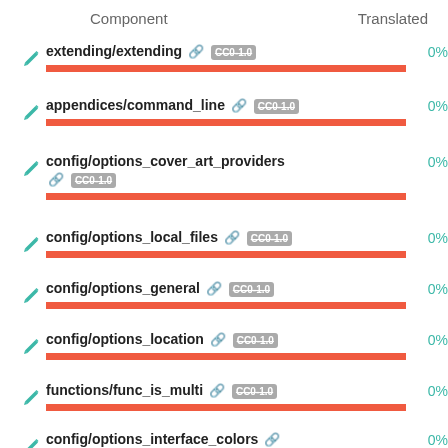| Component | Translated |
| --- | --- |
| extending/extending ⊙ CC0-1.0 | 0% |
| appendices/command_line ⊙ CC0-1.0 | 0% |
| config/options_cover_art_providers ⊙ CC0-1.0 | 0% |
| config/options_local_files ⊙ CC0-1.0 | 0% |
| config/options_general ⊙ CC0-1.0 | 0% |
| config/options_location ⊙ CC0-1.0 | 0% |
| functions/func_is_multi ⊙ CC0-1.0 | 0% |
| config/options_interface_colors ⊙ | 0% |